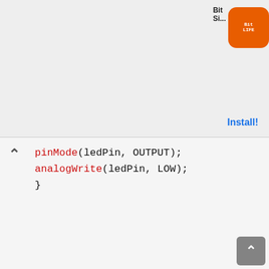[Figure (screenshot): Advertisement banner for BitLife mobile game showing 'Need cash quick...' text, a game screenshot with Bank Robbery option highlighted, BitLife app icon, and Install! button]
pinMode(ledPin, OUTPUT);
analogWrite(ledPin, LOW);
}
Inside the loop() function, we will first check if data is available in the serial port. If data is available then store it in the variable ‘pwmValue’ and set ‘flag’ to 0. Now if flag is 0 then change the brightness of the LED using analogWrite() function and set ‘flag’ to 1. The anlogWrite() function will take in the ledpin and the pwmValue as the parameters inside it. Note that the ‘pwmValue’ will consist of